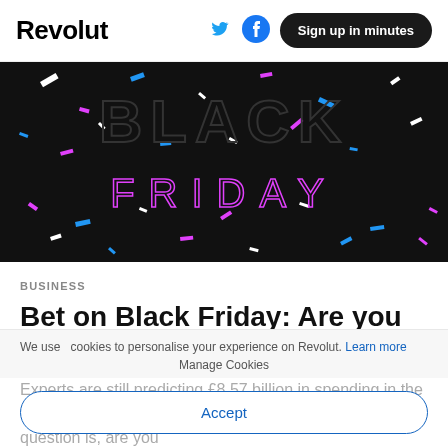Revolut | Sign up in minutes
[Figure (illustration): Black Friday promotional banner with colorful confetti on dark background, showing 'BLACK FRIDAY' text in neon/outline style lettering]
BUSINESS
Bet on Black Friday: Are you ready for the rush?
Experts are still predicting £8.57 billion in spending in the next eight days, a 3.5% increase on last year. The question is, are you
We use cookies to personalise your experience on Revolut. Learn more
Manage Cookies
Accept